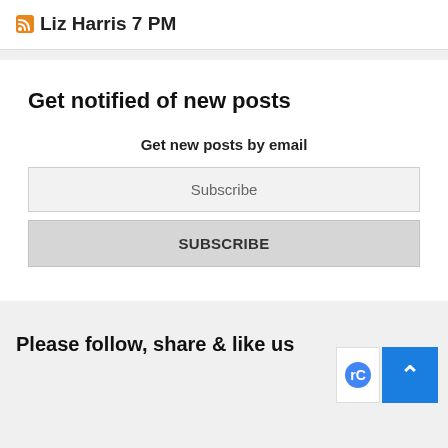Liz Harris 7 PM
Get notified of new posts
Get new posts by email
Subscribe
SUBSCRIBE
Please follow, share & like us